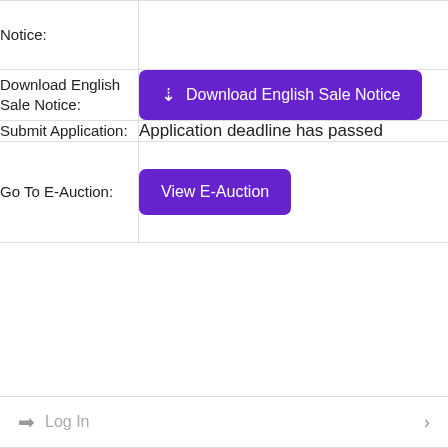| Label | Content |
| --- | --- |
| Notice: |  |
| Download English Sale Notice: | Download English Sale Notice (button) |
| Submit Application: | Application deadline has passed |
| Go To E-Auction: | View E-Auction (button) |
Log In